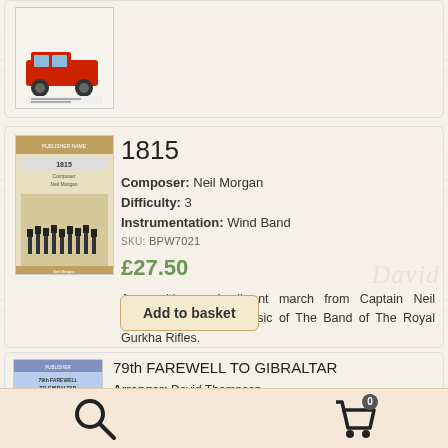[Figure (illustration): Partial product card showing a book cover with a red vehicle illustration, cropped at top]
1815
Composer: Neil Morgan
Difficulty: 3
Instrumentation: Wind Band
SKU: BPW7021
£27.50
An exciting and vibrant march from Captain Neil Morgan, Director of Music of The Band of The Royal Gurkha Rifles.
Add to basket
79th FAREWELL TO GIBRALTAR
Arranger: David Thompson
Instrumentation: Bagpipes with Brass Band